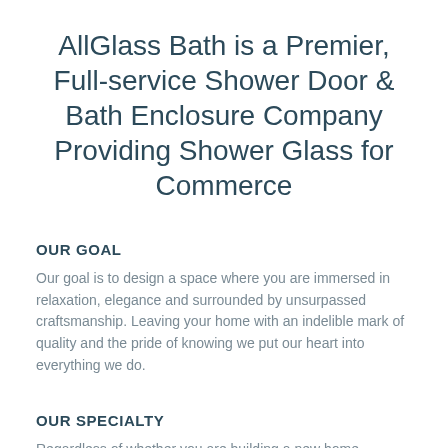AllGlass Bath is a Premier, Full-service Shower Door & Bath Enclosure Company Providing Shower Glass for Commerce
OUR GOAL
Our goal is to design a space where you are immersed in relaxation, elegance and surrounded by unsurpassed craftsmanship. Leaving your home with an indelible mark of quality and the pride of knowing we put our heart into everything we do.
OUR SPECIALTY
Regardless of whether you are building a new home,